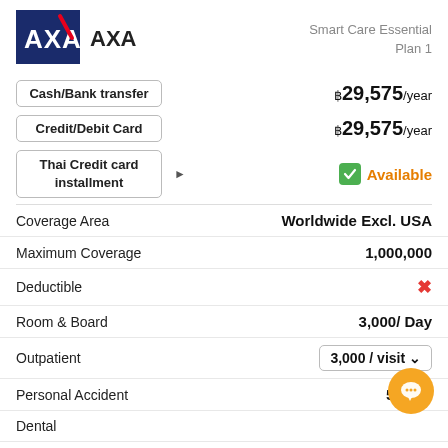[Figure (logo): AXA logo — dark blue background with white AXA letters and red diagonal slash]
AXA
Smart Care Essential Plan 1
Cash/Bank transfer   ฿29,575/year
Credit/Debit Card   ฿29,575/year
Thai Credit card installment   ▶   Available
|  |  |
| --- | --- |
| Coverage Area | Worldwide Excl. USA |
| Maximum Coverage | 1,000,000 |
| Deductible | ✗ |
| Room & Board | 3,000/ Day |
| Outpatient | 3,000 / visit ˅ |
| Personal Accident | 50,000 |
| Dental |  |
| Vision |  |
| Emergency Assitance | ✗ |